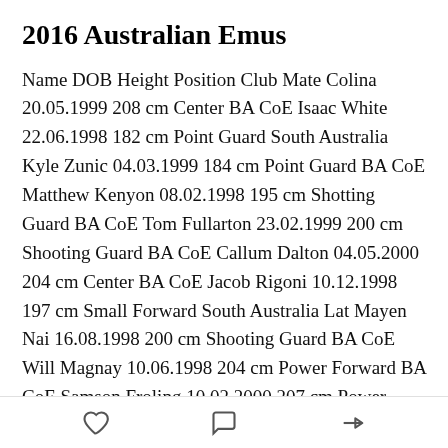2016 Australian Emus
Name DOB Height Position Club Mate Colina 20.05.1999 208 cm Center BA CoE Isaac White 22.06.1998 182 cm Point Guard South Australia Kyle Zunic 04.03.1999 184 cm Point Guard BA CoE Matthew Kenyon 08.02.1998 195 cm Shotting Guard BA CoE Tom Fullarton 23.02.1999 200 cm Shooting Guard BA CoE Callum Dalton 04.05.2000 204 cm Center BA CoE Jacob Rigoni 10.12.1998 197 cm Small Forward South Australia Lat Mayen Nai 16.08.1998 200 cm Shooting Guard BA CoE Will Magnay 10.06.1998 204 cm Power Forward BA CoE Samson Froling 10.02.2000 207 cm Power Forward BA CoE Andrew Ferguson 17.09.1998 211 cm Center BA CoE Samuel
like comment share icons